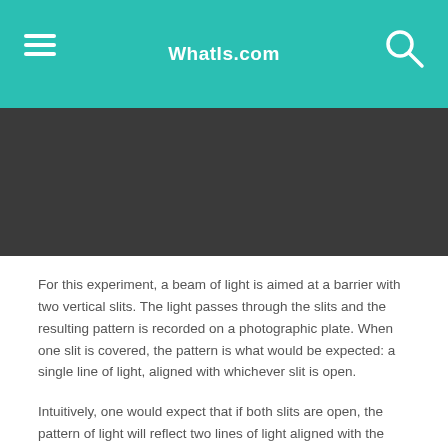WhatIs.com
For this experiment, a beam of light is aimed at a barrier with two vertical slits. The light passes through the slits and the resulting pattern is recorded on a photographic plate. When one slit is covered, the pattern is what would be expected: a single line of light, aligned with whichever slit is open.
Intuitively, one would expect that if both slits are open, the pattern of light will reflect two lines of light aligned with the slits. In fact, what happens is that the photographic plate separates into multiple lines of lightness and darkness in varying degrees.